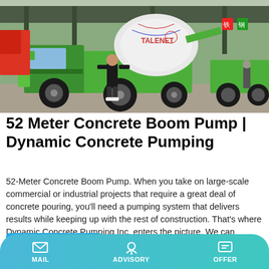[Figure (photo): Photo of a green Talenet self-loading concrete mixer truck parked at a construction site with a person standing in front of it.]
52 Meter Concrete Boom Pump | Dynamic Concrete Pumping
52-Meter Concrete Boom Pump. When you take on large-scale commercial or industrial projects that require a great deal of concrete pouring, you'll need a pumping system that delivers results while keeping up with the rest of construction. That's where Dynamic Concrete Pumping Inc. enters the picture. We can provide massive 52- and 56-meter concrete boom pumps that allow you to reach basically any space …
Learn More
MAIL   ADVISORY   OFFER